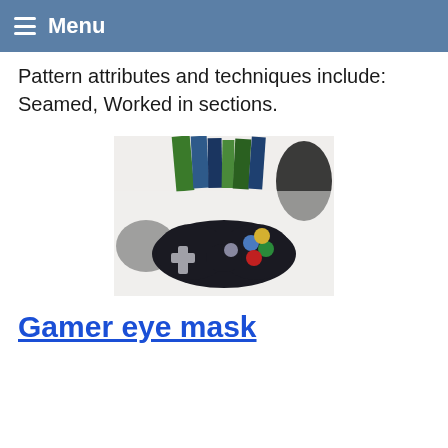Menu
Pattern attributes and techniques include: Seamed, Worked in sections.
[Figure (photo): A crocheted eye mask designed to look like a video game controller (Xbox style), black with grey d-pad, grey small button, blue, green, yellow and red buttons, photographed on a white surface near real game controllers and game cases.]
Gamer eye mask